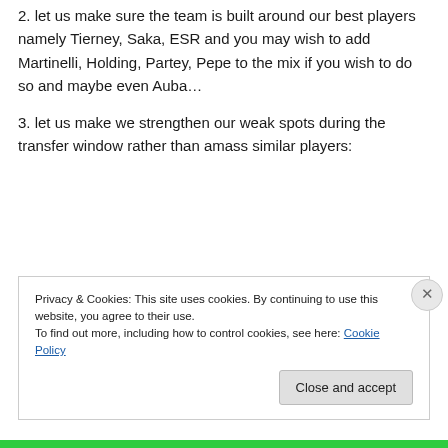2. let us make sure the team is built around our best players namely Tierney, Saka, ESR and you may wish to add Martinelli, Holding, Partey, Pepe to the mix if you wish to do so and maybe even Auba…
3. let us make we strengthen our weak spots during the transfer window rather than amass similar players:
Privacy & Cookies: This site uses cookies. By continuing to use this website, you agree to their use.
To find out more, including how to control cookies, see here: Cookie Policy
Close and accept